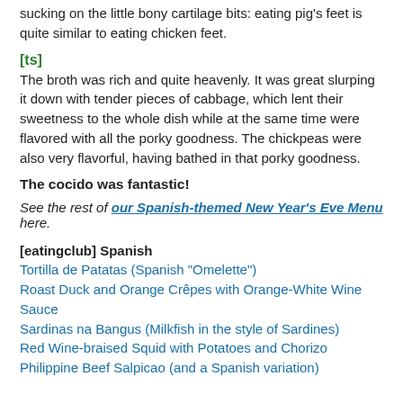sucking on the little bony cartilage bits: eating pig's feet is quite similar to eating chicken feet.
[ts]
The broth was rich and quite heavenly. It was great slurping it down with tender pieces of cabbage, which lent their sweetness to the whole dish while at the same time were flavored with all the porky goodness. The chickpeas were also very flavorful, having bathed in that porky goodness.
The cocido was fantastic!
See the rest of our Spanish-themed New Year's Eve Menu here.
[eatingclub] Spanish
Tortilla de Patatas (Spanish "Omelette")
Roast Duck and Orange Crêpes with Orange-White Wine Sauce
Sardinas na Bangus (Milkfish in the style of Sardines)
Red Wine-braised Squid with Potatoes and Chorizo
Philippine Beef Salpicao (and a Spanish variation)